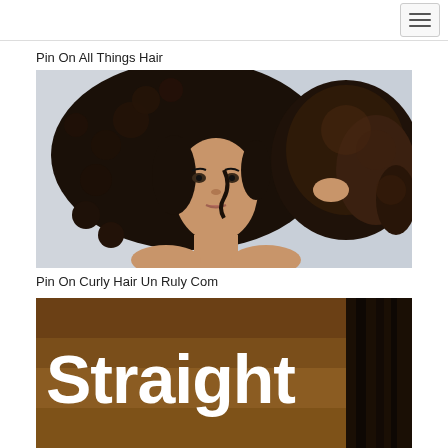[Figure (screenshot): Navigation bar with hamburger menu button in top right corner]
Pin On All Things Hair
[Figure (photo): Young woman with voluminous curly dark brown hair, holding her hair with one hand, against a light blue-grey background]
Pin On Curly Hair Un Ruly Com
[Figure (photo): Partial image with the word 'Straight' in large bold white text overlaid on a background showing dark straight hair and a warm brown/wood-toned background]